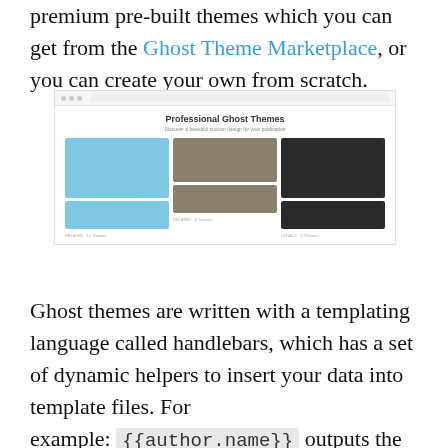premium pre-built themes which you can get from the Ghost Theme Marketplace, or you can create your own from scratch.
[Figure (screenshot): Screenshot of the Ghost Theme Marketplace website showing 'Professional Ghost Themes' heading and a grid of three theme previews.]
Ghost themes are written with a templating language called handlebars, which has a set of dynamic helpers to insert your data into template files. For example: {{author.name}} outputs the name